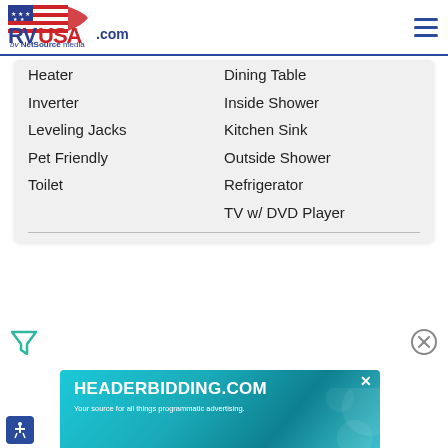RVUSA.com by NetSource media
Heater
Dining Table
Inverter
Inside Shower
Leveling Jacks
Kitchen Sink
Pet Friendly
Outside Shower
Toilet
Refrigerator
TV w/ DVD Player
[Figure (logo): Filter/funnel icon at bottom left]
[Figure (logo): Close (X circle) icon at bottom right]
[Figure (screenshot): HEADERBIDDING.COM advertisement banner with tagline 'Your source for all things programmatic advertising.']